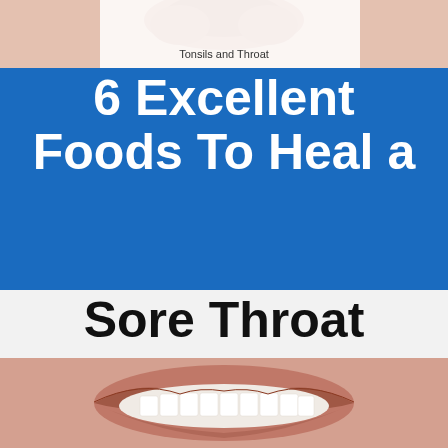[Figure (photo): Close-up photo of tonsils and throat, shown at top of image with label 'Tonsils and Throat']
Tonsils and Throat
6 Excellent Foods To Heal a Sore Throat You Didn't Know About
[Figure (photo): Close-up photo of an open mouth showing teeth and lips at the bottom of the image]